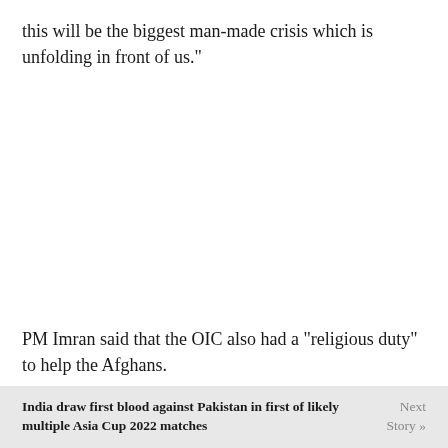this will be the biggest man-made crisis which is unfolding in front of us."
PM Imran said that the OIC also had a "religious duty" to help the Afghans.
India draw first blood against Pakistan in first of likely multiple Asia Cup 2022 matches   Next Story »